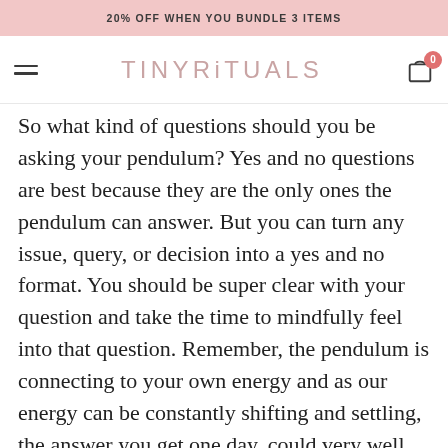20% OFF WHEN YOU BUNDLE 3 ITEMS
TINY RiTUALS
So what kind of questions should you be asking your pendulum? Yes and no questions are best because they are the only ones the pendulum can answer. But you can turn any issue, query, or decision into a yes and no format. You should be super clear with your question and take the time to mindfully feel into that question. Remember, the pendulum is connecting to your own energy and as our energy can be constantly shifting and settling, the answer you get one day, could very well be different the next. That's not to say, the answer is fickle or wrong, but by gathering intentions and answers, we can